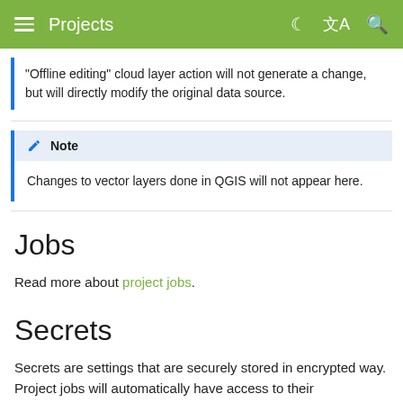Projects
"Offline editing" cloud layer action will not generate a change, but will directly modify the original data source.
Note
Changes to vector layers done in QGIS will not appear here.
Jobs
Read more about project jobs.
Secrets
Secrets are settings that are securely stored in encrypted way. Project jobs will automatically have access to their